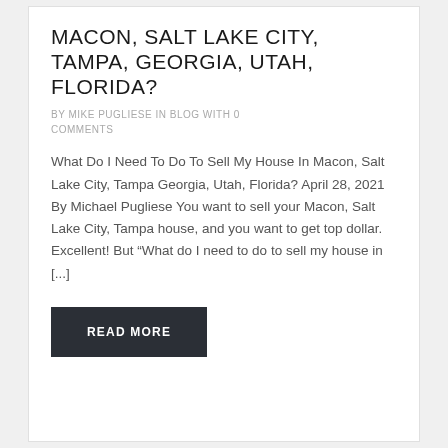MACON, SALT LAKE CITY, TAMPA, GEORGIA, UTAH, FLORIDA?
BY MIKE PUGLIESE IN BLOG WITH 0 COMMENTS
What Do I Need To Do To Sell My House In Macon, Salt Lake City, Tampa Georgia, Utah, Florida? April 28, 2021 By Michael Pugliese You want to sell your Macon, Salt Lake City, Tampa house, and you want to get top dollar. Excellent! But “What do I need to do to sell my house in [...]
READ MORE